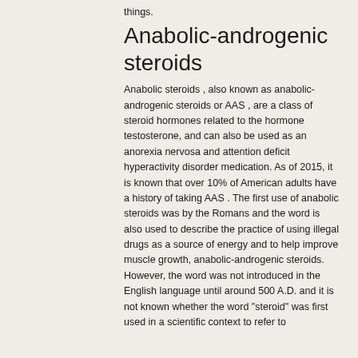things.
Anabolic-androgenic steroids
Anabolic steroids , also known as anabolic-androgenic steroids or AAS , are a class of steroid hormones related to the hormone testosterone, and can also be used as an anorexia nervosa and attention deficit hyperactivity disorder medication. As of 2015, it is known that over 10% of American adults have a history of taking AAS . The first use of anabolic steroids was by the Romans and the word is also used to describe the practice of using illegal drugs as a source of energy and to help improve muscle growth, anabolic-androgenic steroids. However, the word was not introduced in the English language until around 500 A.D. and it is not known whether the word "steroid" was first used in a scientific context to refer to